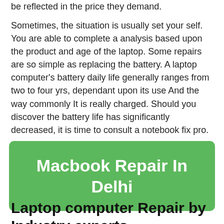be reflected in the price they demand.
Sometimes, the situation is usually set your self. You are able to complete a analysis based upon the product and age of the laptop. Some repairs are so simple as replacing the battery. A laptop computer's battery daily life generally ranges from two to four yrs, dependant upon its use And the way commonly It is really charged. Should you discover the battery life has significantly decreased, it is time to consult a notebook fix pro.
[Figure (other): Green rounded rectangle banner with white bold text reading 'Macbook Repair In Delhi']
Laptop computer Repair by Industry experts